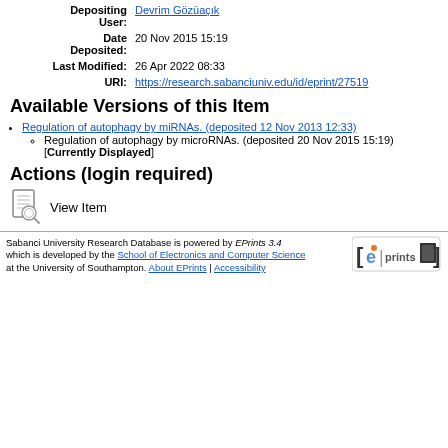| Label | Value |
| --- | --- |
| Depositing User: | Devrim Gözüaçık |
| Date Deposited: | 20 Nov 2015 15:19 |
| Last Modified: | 26 Apr 2022 08:33 |
| URI: | https://research.sabanciuniv.edu/id/eprint/27519 |
Available Versions of this Item
Regulation of autophagy by miRNAs. (deposited 12 Nov 2013 12:33)
Regulation of autophagy by microRNAs. (deposited 20 Nov 2015 15:19) [Currently Displayed]
Actions (login required)
View Item
Sabanci University Research Database is powered by EPrints 3.4 which is developed by the School of Electronics and Computer Science at the University of Southampton. About EPrints | Accessibility